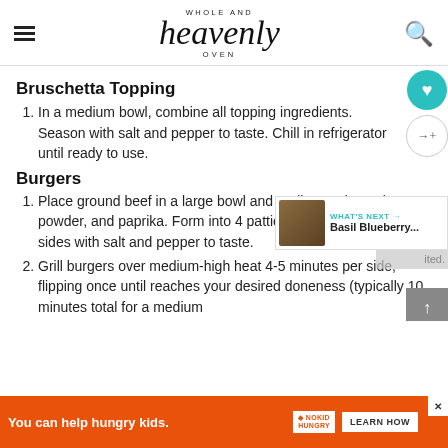Whole and Heavenly Oven
Bruschetta Topping
In a medium bowl, combine all topping ingredients. Season with salt and pepper to taste. Chill in refrigerator until ready to use.
Burgers
Place ground beef in a large bowl and [add] garlic powder, onion powder, and paprika. Form into 4 patties and season both sides with salt and pepper to taste.
Grill burgers over medium-high heat 4-5 minutes per side, flipping once until reaches your desired doneness (typically 10 minutes total for a medium [burger; flip once during cooking at desired temperature].
[Figure (infographic): Advertisement bar: You can help hungry kids. No Kid Hungry. Learn How.]